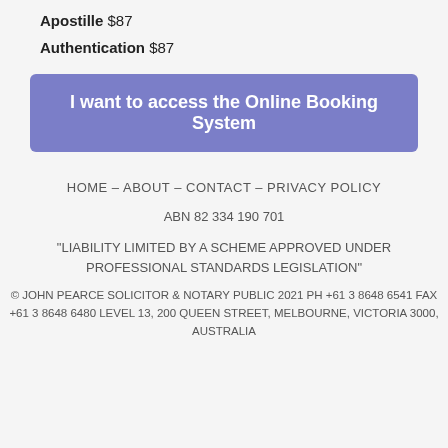Apostille $87
Authentication $87
I want to access the Online Booking System
HOME – ABOUT – CONTACT – PRIVACY POLICY
ABN 82 334 190 701
"LIABILITY LIMITED BY A SCHEME APPROVED UNDER PROFESSIONAL STANDARDS LEGISLATION"
© JOHN PEARCE SOLICITOR & NOTARY PUBLIC 2021 PH +61 3 8648 6541 FAX +61 3 8648 6480 LEVEL 13, 200 QUEEN STREET, MELBOURNE, VICTORIA 3000, AUSTRALIA